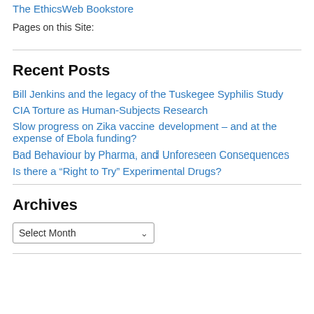The EthicsWeb Bookstore
Pages on this Site:
Recent Posts
Bill Jenkins and the legacy of the Tuskegee Syphilis Study
CIA Torture as Human-Subjects Research
Slow progress on Zika vaccine development – and at the expense of Ebola funding?
Bad Behaviour by Pharma, and Unforeseen Consequences
Is there a “Right to Try” Experimental Drugs?
Archives
Select Month